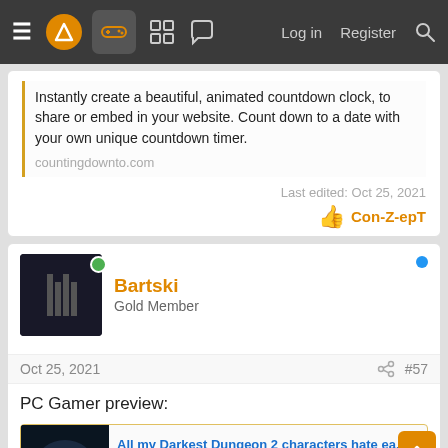Navigation bar with hamburger menu, logo, gamepad icon, grid icon, chat icon, Log in, Register, Search
Instantly create a beautiful, animated countdown clock, to share or embed in your website. Count down to a date with your own unique countdown timer.
countingdownto.com
Last edited: Oct 25, 2021
Con-Z-epT
Bartski
Gold Member
Oct 25, 2021  #57
PC Gamer preview:
All my Darkest Dungeon 2 characters hate ea...
After spending a weekend with the Early Access release, we report in from oblivion.